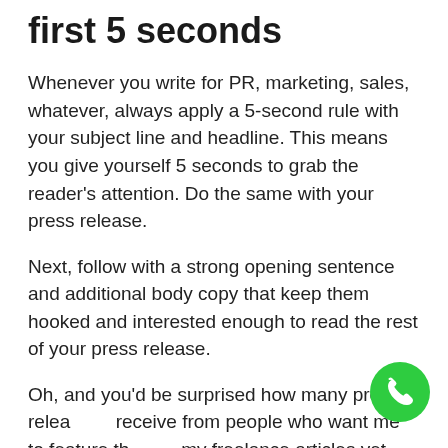first 5 seconds
Whenever you write for PR, marketing, sales, whatever, always apply a 5-second rule with your subject line and headline. This means you give yourself 5 seconds to grab the reader's attention. Do the same with your press release.
Next, follow with a strong opening sentence and additional body copy that keep them hooked and interested enough to read the rest of your press release.
Oh, and you'd be surprised how many press releases I receive from people who want me to feature them in my freelance articles yet they don't explain who they